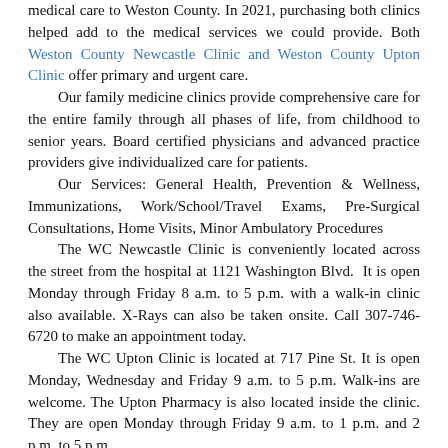medical care to Weston County. In 2021, purchasing both clinics helped add to the medical services we could provide. Both Weston County Newcastle Clinic and Weston County Upton Clinic offer primary and urgent care.
Our family medicine clinics provide comprehensive care for the entire family through all phases of life, from childhood to senior years. Board certified physicians and advanced practice providers give individualized care for patients.
Our Services: General Health, Prevention & Wellness, Immunizations, Work/School/Travel Exams, Pre-Surgical Consultations, Home Visits, Minor Ambulatory Procedures
The WC Newcastle Clinic is conveniently located across the street from the hospital at 1121 Washington Blvd. It is open Monday through Friday 8 a.m. to 5 p.m. with a walk-in clinic also available. X-Rays can also be taken onsite. Call 307-746-6720 to make an appointment today.
The WC Upton Clinic is located at 717 Pine St. It is open Monday, Wednesday and Friday 9 a.m. to 5 p.m. Walk-ins are welcome. The Upton Pharmacy is also located inside the clinic. They are open Monday through Friday 9 a.m. to 1 p.m. and 2 p.m. to 5 p.m.
Tags:
Weston County Health Services
medical clinic • Newcastle
Upton • Weston County
Wyoming • Black Hills